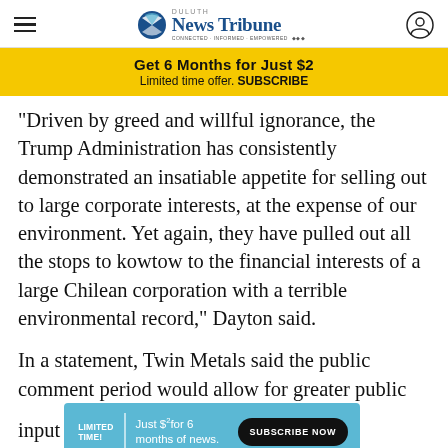Duluth News Tribune
Get 6 Months for Just $2 Limited time offer. SUBSCRIBE
"Driven by greed and willful ignorance, the Trump Administration has consistently demonstrated an insatiable appetite for selling out to large corporate interests, at the expense of our environment. Yet again, they have pulled out all the stops to kowtow to the financial interests of a large Chilean corporation with a terrible environmental record," Dayton said.
In a statement, Twin Metals said the public comment period would allow for greater public input
"Twin Metals looks forward to the timely and